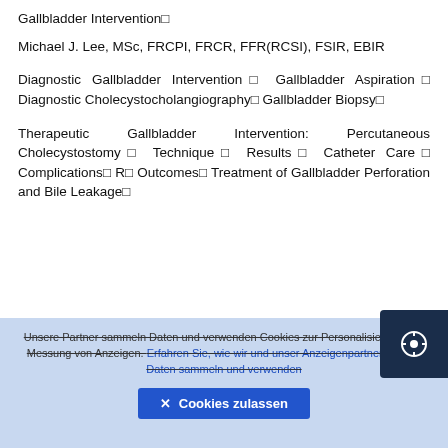Gallbladder Intervention
Michael J. Lee, MSc, FRCPI, FRCR, FFR(RCSI), FSIR, EBIR
Diagnostic Gallbladder Intervention□ Gallbladder Aspiration□ Diagnostic Cholecystocholangiography□ Gallbladder Biopsy□
Therapeutic Gallbladder Intervention: Percutaneous Cholecystostomy□ Technique□ Results□ Catheter Care□ Complications□ R□ Outcomes□ Treatment of Gallbladder Perforation and Bile Leakage□
Unsere Partner sammeln Daten und verwenden Cookies zur Personalisierung und Messung von Anzeigen. Erfahren Sie, wie wir und unser Anzeigenpartner Google Daten sammeln und verwenden
✕ Cookies zulassen